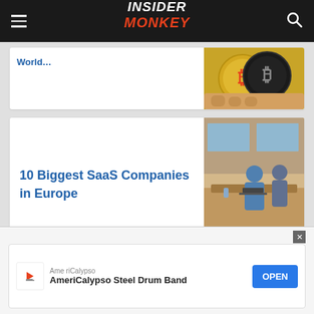Insider Monkey
[Figure (photo): Hands holding gold Bitcoin coins]
[Figure (photo): People working at a table in a modern office SaaS environment]
10 Biggest SaaS Companies in Europe
[Figure (photo): Hand holding a black smartphone against blue background]
14 Most Valuable
AmeriCalypso AmeriCalypso Steel Drum Band OPEN